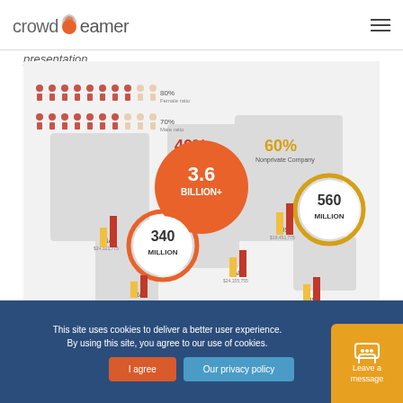crowdbeamer [logo + hamburger menu]
presentation
[Figure (infographic): Infographic showing world map with data circles: 3.6 BILLION+ (center red circle), 340 MILLION (orange ring), 560 MILLION (gold ring, right), 40% Private Company (red text), 60% Nonprivate Company (gold text). People icons showing 80% and 70%. Country bar charts for USA, BRA, ZAF, AUS, and another region.]
This site uses cookies to deliver a better user experience. By using this site, you agree to our use of cookies.
I agree
Our privacy policy
Leave a message